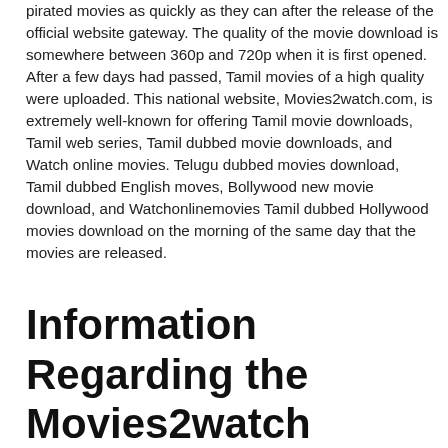pirated movies as quickly as they can after the release of the official website gateway. The quality of the movie download is somewhere between 360p and 720p when it is first opened. After a few days had passed, Tamil movies of a high quality were uploaded. This national website, Movies2watch.com, is extremely well-known for offering Tamil movie downloads, Tamil web series, Tamil dubbed movie downloads, and Watch online movies. Telugu dubbed movies download, Tamil dubbed English moves, Bollywood new movie download, and Watchonlinemovies Tamil dubbed Hollywood movies download on the morning of the same day that the movies are released.
Information Regarding the Movies2watch Domain and Server